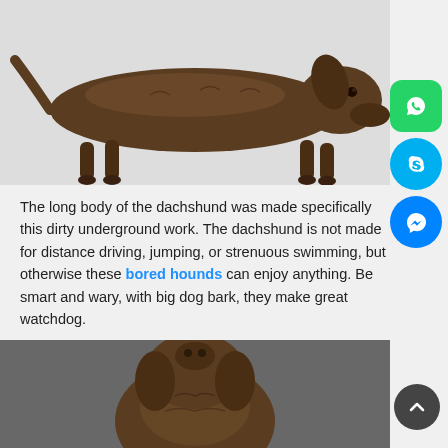[Figure (photo): Bronze sculpture of a dachshund dog standing on a white/light grey background, viewed from the side showing its characteristic long body.]
The long body of the dachshund was made specifically this dirty underground work. The dachshund is not made for distance driving, jumping, or strenuous swimming, but otherwise these bored hounds can enjoy anything. Be smart and wary, with big dog bark, they make great watchdog.
[Figure (photo): Bronze sculpture of a dachshund dog lying down or in a low cropped view on a grey background.]